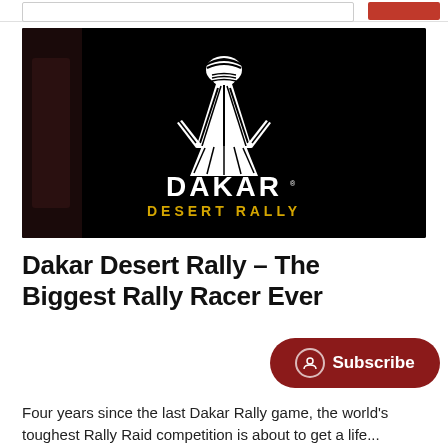[Figure (logo): Dakar Desert Rally game logo — white stylized figure on black background with 'DAKAR' in large white text and 'DESERT RALLY' in gold/yellow below]
Dakar Desert Rally – The Biggest Rally Racer Ever
Four years since the last Dakar Rally game, the world's toughest Rally Raid competition is about to get a life...